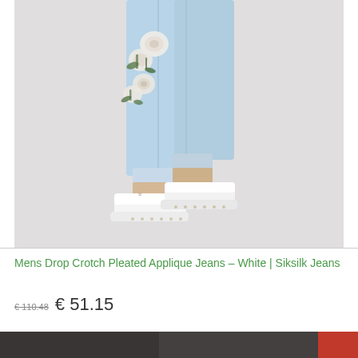[Figure (photo): A close-up photograph of a person from the waist down wearing light blue skinny jeans with white floral applique/embroidery on the leg, paired with white low-top sneakers with pearl-like studs on the sole. The background is light gray.]
Mens Drop Crotch Pleated Applique Jeans – White | Siksilk Jeans
€ 110.48  € 51.15
[Figure (photo): Partial thumbnail strip showing additional product images at the bottom of the page.]